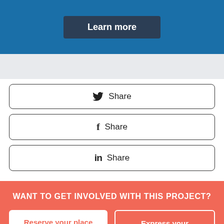[Figure (screenshot): Blue banner with 'Learn more' dark button]
Share (Twitter)
Share (Facebook)
Share (LinkedIn)
WANT TO GET INVOLVED WITH THIS PROJECT?
Reserve your place
Express your interest